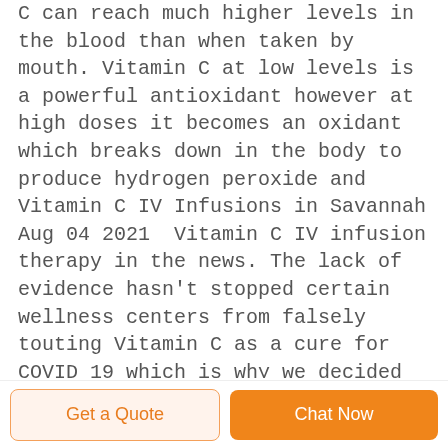C can reach much higher levels in the blood than when taken by mouth. Vitamin C at low levels is a powerful antioxidant however at high doses it becomes an oxidant which breaks down in the body to produce hydrogen peroxide and Vitamin C IV Infusions in Savannah Aug 04 2021  Vitamin C IV infusion therapy in the news. The lack of evidence hasn't stopped certain wellness centers from falsely touting Vitamin C as a cure for COVID 19 which is why we decided to step into the breach and present the
Get a Quote
Chat Now